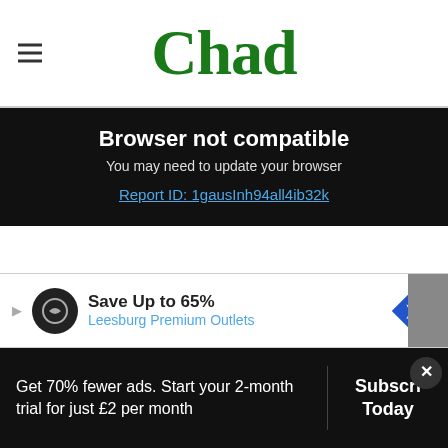Chad
Browser not compatible
You may need to update your browser
Report ID: 1gausInh94all4ib32k
around 150 products every month.
This month, customers can save over £8 on the L'Oréal Paris Revitalift Laser Pure Retinol Deep Anti-Wrinkle Night Serum - costing £16.60 for
Save Up to 65% Leesburg Premium Outlets
for regular customers.
Get 70% fewer ads. Start your 2-month trial for just £2 per month
Subscribe Today